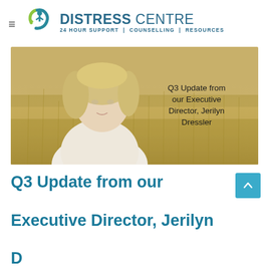DISTRESS CENTRE — 24 HOUR SUPPORT | COUNSELLING | RESOURCES
[Figure (photo): Photo of Jerilyn Dressler, Executive Director, with overlaid text 'Q3 Update from our Executive Director, Jerilyn Dressler'. Background is a field of golden grass. Subject is a blonde woman in a white turtleneck sweater.]
Q3 Update from our Executive Director, Jerilyn Dressler